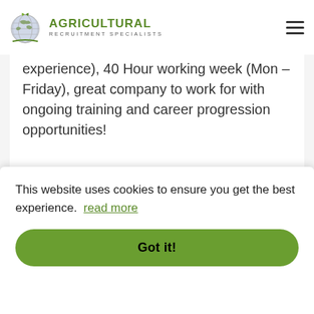[Figure (logo): Agricultural Recruitment Specialists logo with globe and green leaf icon, green uppercase text AGRICULTURAL and subtitle RECRUITMENT SPECIALISTS]
experience), 40 Hour working week (Mon – Friday), great company to work for with ongoing training and career progression opportunities!
Mechanic– Co. Kildare, Ireland –
Basic salary to €45,000, 40 Hour
This website uses cookies to ensure you get the best experience. read more
Got it!